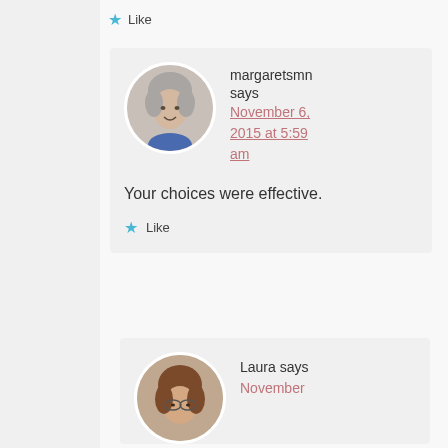Like
[Figure (photo): Circular avatar photo of a woman with short gray hair, smiling, wearing a blue shirt]
margaretsmn says
November 6, 2015 at 5:59 am
Your choices were effective.
Like
[Figure (photo): Circular avatar photo of a woman, partially visible at bottom of page]
Laura says
November